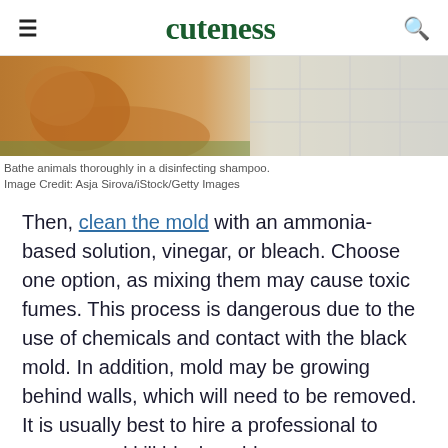cuteness
[Figure (photo): A golden/orange fluffy dog near a white tiled bathroom wall, viewed from behind/side.]
Bathe animals thoroughly in a disinfecting shampoo.
Image Credit: Asja Sirova/iStock/Getty Images
Then, clean the mold with an ammonia-based solution, vinegar, or bleach. Choose one option, as mixing them may cause toxic fumes. This process is dangerous due to the use of chemicals and contact with the black mold. In addition, mold may be growing behind walls, which will need to be removed. It is usually best to hire a professional to remove and kill black mold.
Advertisement